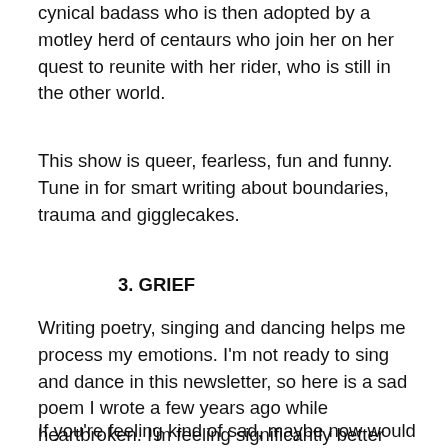cynical badass who is then adopted by a motley herd of centaurs who join her on her quest to reunite with her rider, who is still in the other world.
This show is queer, fearless, fun and funny. Tune in for smart writing about boundaries, trauma and gigglecakes.
3. GRIEF
Writing poetry, singing and dancing helps me process my emotions. I'm not ready to sing and dance in this newsletter, so here is a sad poem I wrote a few years ago while heartbroken. I'm feeling significantly better now, but it still hits every now and then. I'm told grief and healing isn't linear, and this helps me have compassion for my own process.
If you're feeling kind of sad, maybe now would be a